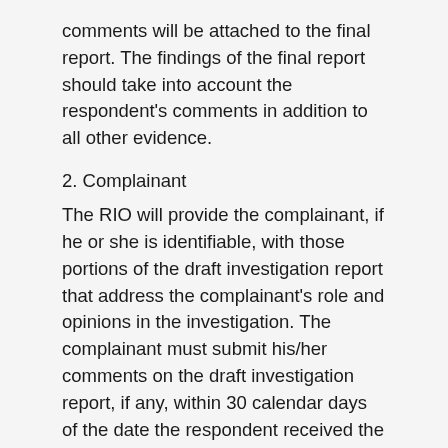comments will be attached to the final report. The findings of the final report should take into account the respondent's comments in addition to all other evidence.
2. Complainant
The RIO will provide the complainant, if he or she is identifiable, with those portions of the draft investigation report that address the complainant's role and opinions in the investigation. The complainant must submit his/her comments on the draft investigation report, if any, within 30 calendar days of the date the respondent received the draft investigation report.  The complainant's comments will be attached to the final report. The findings of the final report should take into account the complainant's comments in addition to all other evidence.